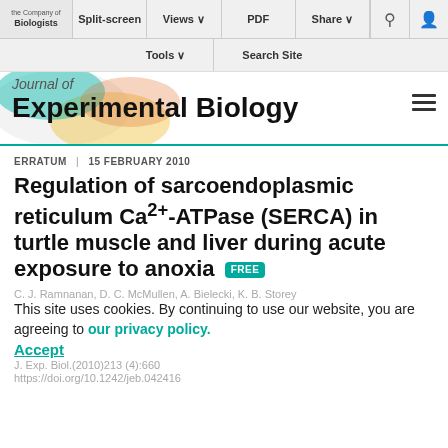[Figure (screenshot): The Company of Biologists logo with navigation bar including Split-screen, Views, PDF, Share buttons and Tools, Search Site row]
Journal of Experimental Biology
ERRATUM | 15 FEBRUARY 2010
Regulation of sarcoendoplasmic reticulum Ca2+-ATPase (SERCA) in turtle muscle and liver during acute exposure to anoxia FREE
C. J. Ramnanan, D. C. McMullen, A. Bielecki, K. B. Storey
This site uses cookies. By continuing to use our website, you are agreeing to our privacy policy.
Accept
J. Exp. Biol.(2010)213 (4):660
https://doi.org/10.1242/jeb.042416